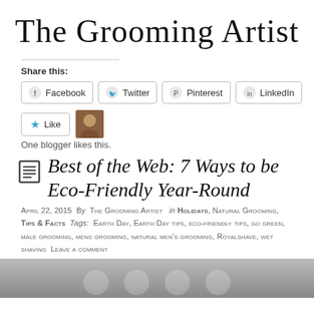The Grooming Artist
Share this:
Facebook  Twitter  Pinterest  LinkedIn
Like  One blogger likes this.
Best of the Web: 7 Ways to be Eco-Friendly Year-Round
April 22, 2015  By  THE GROOMING ARTIST  in HOLIDAYS, Natural Grooming, TIPS & FACTS  Tags: Earth Day, Earth Day tips, eco-friendly tips, go green, male grooming, mens grooming, natural men's grooming, Royalshave, wet shaving  Leave a comment
[Figure (photo): Grey gradient image with circular icon elements at bottom]